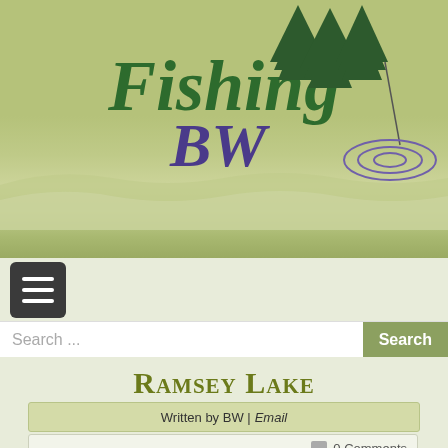[Figure (logo): Fishing BW website logo with italic green 'Fishing' text, purple italic 'BW' text, dark green pine trees silhouette, and a fishing line dropping into water ripple circles]
[Figure (screenshot): Dark gray hamburger menu button with three white horizontal bars]
Search ...
Search
Ramsey Lake
Written by BW | Email
0 Comments
Catch of the Day